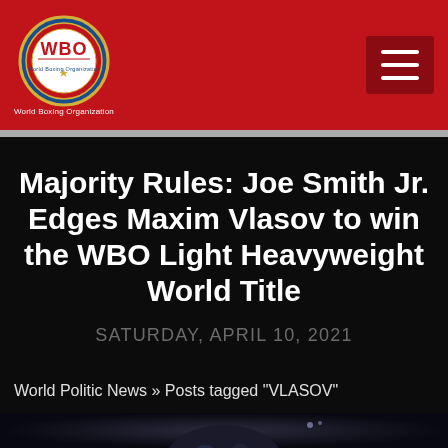WBO World Boxing Organization
Majority Rules: Joe Smith Jr. Edges Maxim Vlasov to win the WBO Light Heavyweight World Title
SATURDAY, APRIL 10, 2021
World Politic News » Posts tagged "VLASOV"
[Figure (photo): Bottom strip showing top of a boxer's head with dark background]